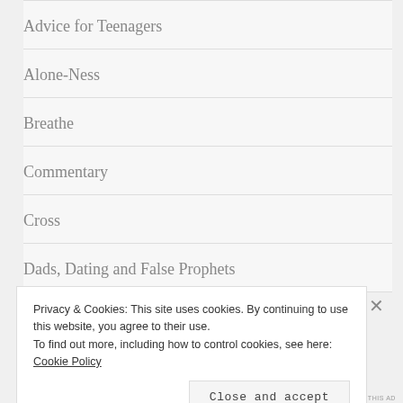Advice for Teenagers
Alone-Ness
Breathe
Commentary
Cross
Dads, Dating and False Prophets
Privacy & Cookies: This site uses cookies. By continuing to use this website, you agree to their use. To find out more, including how to control cookies, see here: Cookie Policy
Close and accept